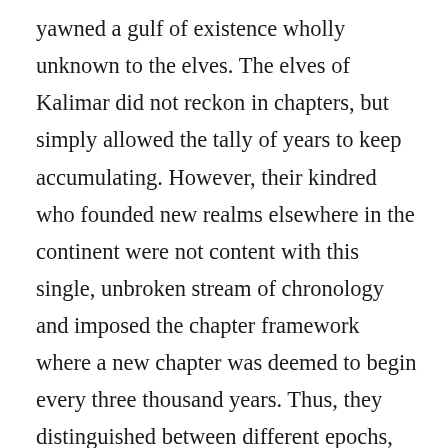yawned a gulf of existence wholly unknown to the elves. The elves of Kalimar did not reckon in chapters, but simply allowed the tally of years to keep accumulating. However, their kindred who founded new realms elsewhere in the continent were not content with this single, unbroken stream of chronology and imposed the chapter framework where a new chapter was deemed to begin every three thousand years. Thus, they distinguished between different epochs, and determined in advance that the chapters would be equal units of time, not marked by watershed events. Accordingly, any alignment between the turn of a chapter and a momentous event, such as